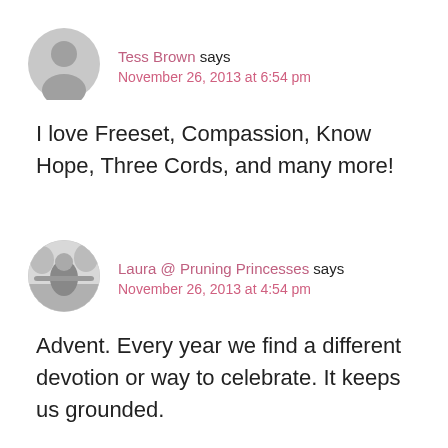Tess Brown says
November 26, 2013 at 6:54 pm
I love Freeset, Compassion, Know Hope, Three Cords, and many more!
Laura @ Pruning Princesses says
November 26, 2013 at 4:54 pm
Advent. Every year we find a different devotion or way to celebrate. It keeps us grounded.